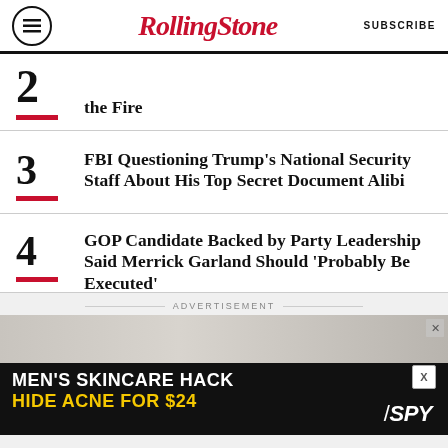RollingStone — SUBSCRIBE
the Fire
FBI Questioning Trump's National Security Staff About His Top Secret Document Alibi
GOP Candidate Backed by Party Leadership Said Merrick Garland Should 'Probably Be Executed'
Q Lazzarus, Cult Favorite Behind 'Goodbye Horses' Who Disappeared for Decades, Dead at 61
[Figure (screenshot): Advertisement banner: MEN'S SKINCARE HACK / HIDE ACNE FOR $24 with SPY logo]